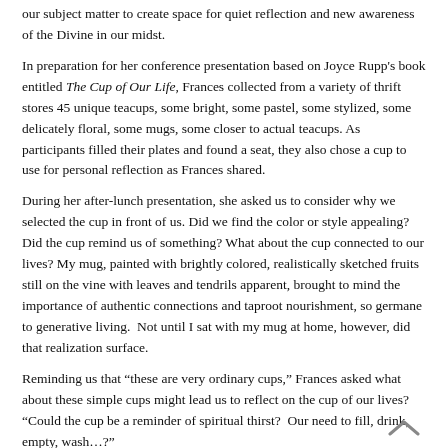our subject matter to create space for quiet reflection and new awareness of the Divine in our midst.
In preparation for her conference presentation based on Joyce Rupp's book entitled The Cup of Our Life, Frances collected from a variety of thrift stores 45 unique teacups, some bright, some pastel, some stylized, some delicately floral, some mugs, some closer to actual teacups. As participants filled their plates and found a seat, they also chose a cup to use for personal reflection as Frances shared.
During her after-lunch presentation, she asked us to consider why we selected the cup in front of us. Did we find the color or style appealing? Did the cup remind us of something? What about the cup connected to our lives? My mug, painted with brightly colored, realistically sketched fruits still on the vine with leaves and tendrils apparent, brought to mind the importance of authentic connections and taproot nourishment, so germane to generative living.  Not until I sat with my mug at home, however, did that realization surface.
Reminding us that “these are very ordinary cups,” Frances asked what about these simple cups might lead us to reflect on the cup of our lives?  “Could the cup be a reminder of spiritual thirst?  Our need to fill, drink, empty, wash…?”
Urging her listeners to think of the cup as an image of their own uniqueness, Frances quoted author Rupp as saying, “Too often